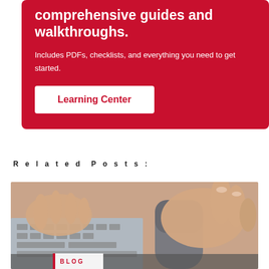comprehensive guides and walkthroughs.
Includes PDFs, checklists, and everything you need to get started.
Learning Center
Related Posts:
[Figure (photo): Close-up of hands using a keyboard and computer mouse, with a BLOG label overlay at the bottom left.]